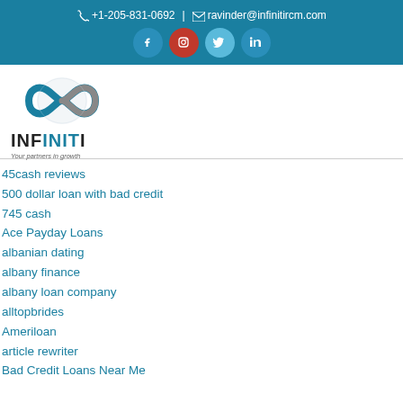📞 +1-205-831-0692  |  ✉ ravinder@infinitircm.com
[Figure (logo): Social media icons: Facebook, Instagram, Twitter, LinkedIn in circles on teal background]
[Figure (logo): Infiniti RCM logo with infinity symbol and text INFINITI - Your partners in growth]
45cash reviews
500 dollar loan with bad credit
745 cash
Ace Payday Loans
albanian dating
albany finance
albany loan company
alltopbrides
Ameriloan
article rewriter
Bad Credit Loans Near Me